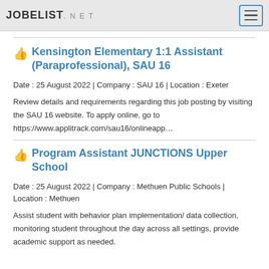JOBELIST.NET
Kensington Elementary 1:1 Assistant (Paraprofessional), SAU 16
Date : 25 August 2022 | Company : SAU 16 | Location : Exeter
Review details and requirements regarding this job posting by visiting the SAU 16 website. To apply online, go to https://www.applitrack.com/sau16/onlineapp…
Program Assistant JUNCTIONS Upper School
Date : 25 August 2022 | Company : Methuen Public Schools | Location : Methuen
Assist student with behavior plan implementation/ data collection, monitoring student throughout the day across all settings, provide academic support as needed.